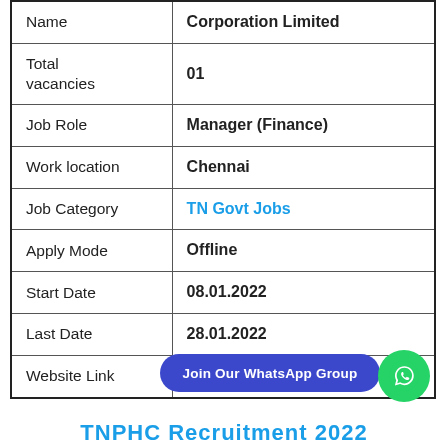| Field | Value |
| --- | --- |
| Name | Corporation Limited |
| Total vacancies | 01 |
| Job Role | Manager (Finance) |
| Work location | Chennai |
| Job Category | TN Govt Jobs |
| Apply Mode | Offline |
| Start Date | 08.01.2022 |
| Last Date | 28.01.2022 |
| Website Link | http://www.tnphc.com/ |
Join Our WhatsApp Group
TNPHC Recruitment 2022